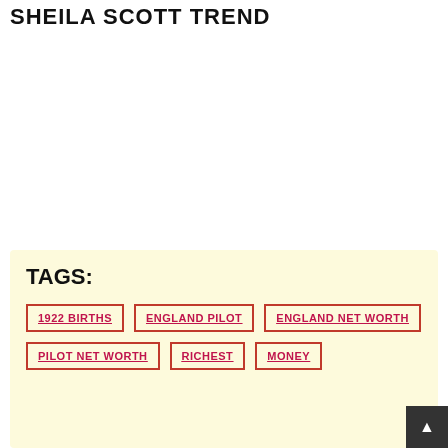SHEILA SCOTT TREND
TAGS:
1922 BIRTHS
ENGLAND PILOT
ENGLAND NET WORTH
PILOT NET WORTH
RICHEST
MONEY